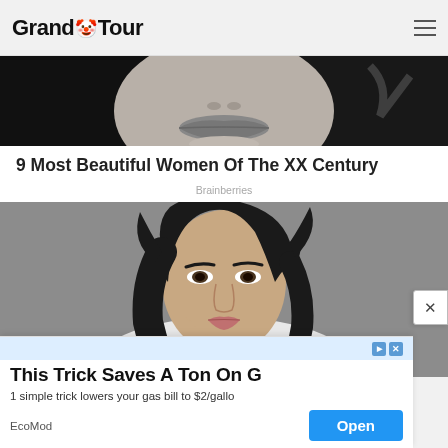Grand Tour
[Figure (photo): Cropped black and white photo showing a woman's lips and lower face]
9 Most Beautiful Women Of The XX Century
Brainberries
[Figure (photo): Color photo of a dark-haired woman in a white top looking over her shoulder against a grey background]
[Figure (screenshot): Advertisement banner: 'This Trick Saves A Ton On G' - '1 simple trick lowers your gas bill to $2/gallo' - EcoMod - Open button]